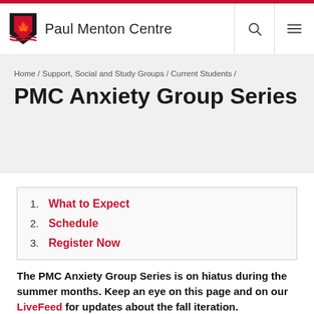Paul Menton Centre
Home / Support, Social and Study Groups / Current Students /
PMC Anxiety Group Series
1. What to Expect
2. Schedule
3. Register Now
The PMC Anxiety Group Series is on hiatus during the summer months. Keep an eye on this page and on our LiveFeed for updates about the fall iteration.